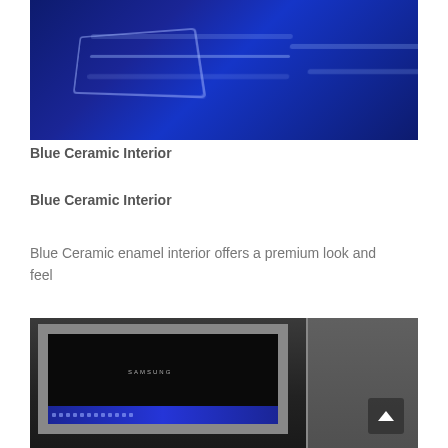[Figure (photo): Close-up photo of a deep blue ceramic oven interior surface with reflective contours and shine.]
Blue Ceramic Interior
Blue Ceramic Interior
Blue Ceramic enamel interior offers a premium look and feel
[Figure (photo): Photo of a Samsung oven with open door showing the stainless steel frame, black glass door panel, and blue ceramic interior visible at the bottom edge. A dark side panel is visible to the right.]